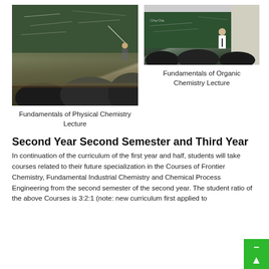[Figure (photo): Students sitting at desks facing a chalkboard with a teacher/presenter in a physical chemistry lecture hall]
[Figure (photo): Students facing a teacher at a chalkboard with chemistry diagrams in an organic chemistry lecture hall]
Fundamentals of Physical Chemistry Lecture
Fundamentals of Organic Chemistry Lecture
Second Year Second Semester and Third Year
In continuation of the curriculum of the first year and half, students will take courses related to their future specialization in the Courses of Frontier Chemistry, Fundamental Industrial Chemistry and Chemical Process Engineering from the second semester of the second year. The student ratio of the above Courses is 3:2:1 (note: new curriculum first applied to